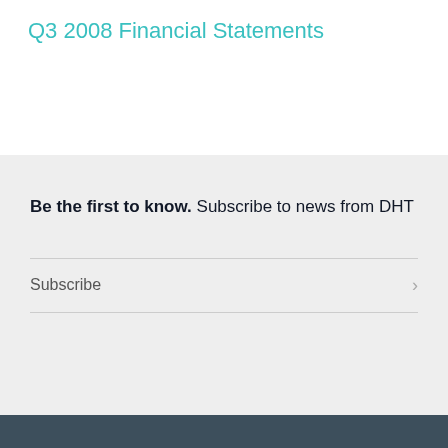Q3 2008 Financial Statements
Be the first to know. Subscribe to news from DHT
Subscribe